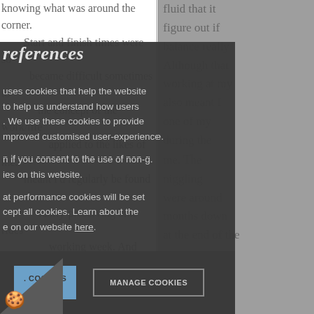knowing what was around the corner. Start and finish times were so fluid that it became difficult sometimes to figure out if the concept of the work/life balance really applied to the likes of me. Although that meant I'd regularly be found working at my desk at 10pm, it also meant I was able to fit in one of my sanity-preserving bike rides during the working week. And that suited me. The perennial concerns, constantly niggling away at the back of my mind, were around paying the mortgage a few months down the line, or the tax bill at the end of the year.
references
uses cookies that help the website to help us understand how users. We use these cookies to provide improved customised user-experience. if you consent to the use of non-g. ies on this website. at performance cookies will be set cept all cookies. Learn about the e on our website here.
ACCEPT ALL COOKIES
MANAGE COOKIES